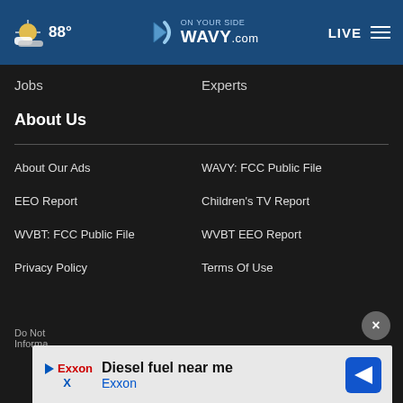88° WAVY.com ON YOUR SIDE LIVE
Jobs
Experts
About Us
About Our Ads
WAVY: FCC Public File
EEO Report
Children's TV Report
WVBT: FCC Public File
WVBT EEO Report
Privacy Policy
Terms Of Use
Do Not ... Informa...
[Figure (screenshot): Exxon advertisement banner: 'Diesel fuel near me' with Exxon logo and navigation icon]